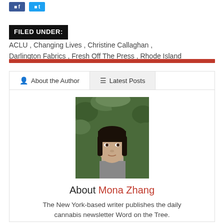[Figure (other): Social media share buttons: Facebook (blue) and Twitter (light blue)]
FILED UNDER: ACLU , Changing Lives , Christine Callaghan , Darlington Fabrics , Fresh Off The Press , Rhode Island
[Figure (other): Red horizontal divider bar]
[Figure (other): Author profile card with tabs: About the Author (active) and Latest Posts. Shows photo of Mona Zhang, a woman with dark hair in front of green foliage.]
About Mona Zhang
The New York-based writer publishes the daily cannabis newsletter Word on the Tree.
Visit My Website